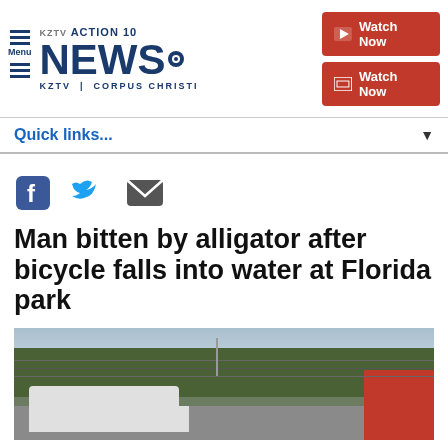ACTION 10 NEWS. KZTV | CORPUS CHRISTI — Watch Now buttons
Quick links...
[Figure (other): Social media share icons: Facebook, Twitter, Email]
Man bitten by alligator after bicycle falls into water at Florida park
[Figure (photo): Outdoor scene with emergency vehicles, trees, and wires in foreground]